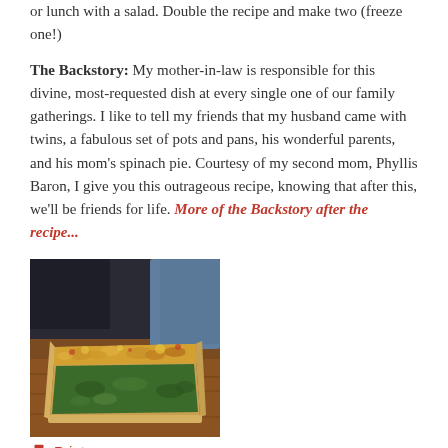or lunch with a salad. Double the recipe and make two (freeze one!)
The Backstory: My mother-in-law is responsible for this divine, most-requested dish at every single one of our family gatherings. I like to tell my friends that my husband came with twins, a fabulous set of pots and pans, his wonderful parents, and his mom's spinach pie. Courtesy of my second mom, Phyllis Baron, I give you this outrageous recipe, knowing that after this, we'll be friends for life. More of the Backstory after the recipe...
[Figure (photo): A slice of spinach pie with golden crust on top and green spinach filling, served on a wooden board with a blue cloth in the background.]
Print
Phyllis's Spinach Pie